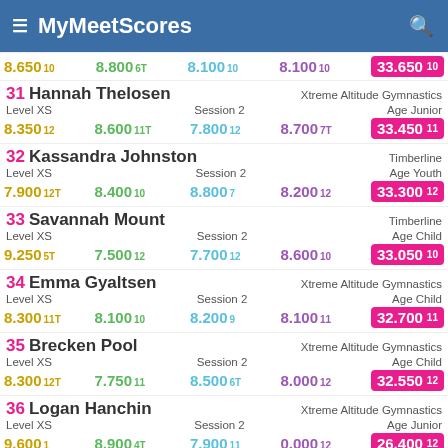MyMeetScores
| # | Name | Gym | Level | Session | Age | Score1 | Score2 | Score3 | Score4 | Total |
| --- | --- | --- | --- | --- | --- | --- | --- | --- | --- | --- |
|  |  |  |  |  |  | 8.650 10 | 8.800 6T | 8.100 10 | 8.100 10 | 33.650 10 |
| 31 | Hannah Thelosen | Xtreme Altitude Gymnastics | XS | 2 | Junior | 8.350 12 | 8.600 11T | 7.800 12 | 8.700 7T | 33.450 11 |
| 32 | Kassandra Johnston | Timberline | XS | 2 | Youth | 7.900 12T | 8.400 10 | 8.800 7 | 8.200 12 | 33.300 12 |
| 33 | Savannah Mount | Timberline | XS | 2 | Child | 9.250 5T | 7.500 12 | 7.700 12 | 8.600 10 | 33.050 10 |
| 34 | Emma Gyaltsen | Xtreme Altitude Gymnastics | XS | 2 | Child | 8.300 11T | 8.100 10 | 8.200 9 | 8.100 11 | 32.700 11 |
| 35 | Brecken Pool | Xtreme Altitude Gymnastics | XS | 2 | Child | 8.300 12T | 7.750 11 | 8.500 6T | 8.000 12 | 32.550 12 |
| 36 | Logan Hanchin | Xtreme Altitude Gymnastics | XS | 2 | Junior | 9.600 1 | 8.900 4T | 7.900 11 | 0.000 12 | 26.400 12 |